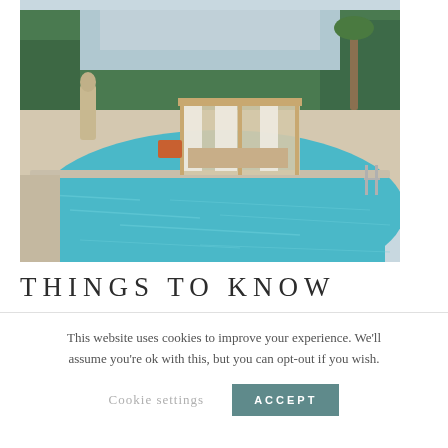[Figure (photo): Outdoor swimming pool with turquoise water, surrounded by stone pavement. In the background there are canopied daybeds with white curtains, palm trees, and lush green vegetation. A statue is visible on the left side.]
THINGS TO KNOW
This website uses cookies to improve your experience. We'll assume you're ok with this, but you can opt-out if you wish.
Cookie settings   ACCEPT